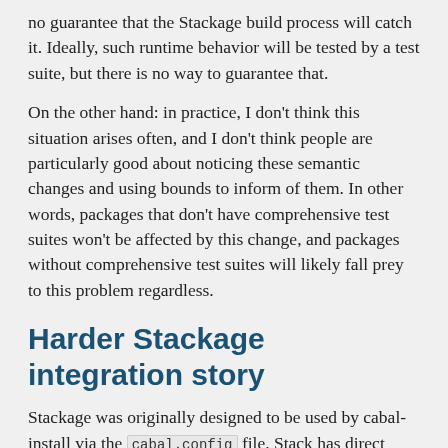no guarantee that the Stackage build process will catch it. Ideally, such runtime behavior will be tested by a test suite, but there is no way to guarantee that.
On the other hand: in practice, I don't think this situation arises often, and I don't think people are particularly good about noticing these semantic changes and using bounds to inform of them. In other words, packages that don't have comprehensive test suites won't be affected by this change, and packages without comprehensive test suites will likely fall prey to this problem regardless.
Harder Stackage integration story
Stackage was originally designed to be used by cabal-install via the cabal.config file. Stack has direct support for Stackage snapshots. To my knowledge, Nix has relatively direct support as